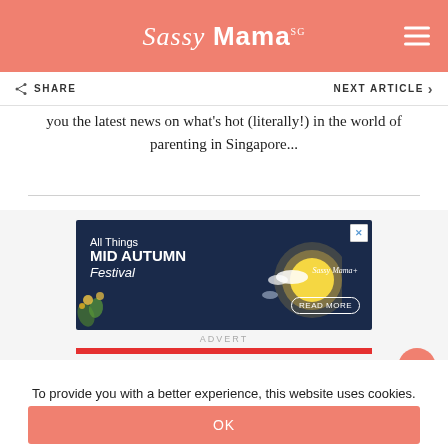Sassy Mama SG
SHARE
NEXT ARTICLE
you the latest news on what's hot (literally!) in the world of parenting in Singapore...
[Figure (infographic): Ad banner for Sassy Mama 'All Things MID AUTUMN Festival' with a glowing moon on a dark blue background and a READ MORE button]
ADVERT
To provide you with a better experience, this website uses cookies. For more information, please refer to our Privacy Policy
OK